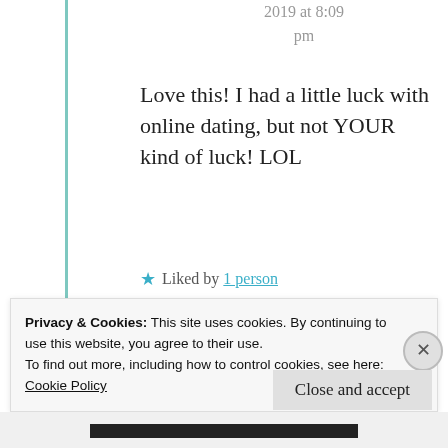2019 at 8:09 pm
Love this! I had a little luck with online dating, but not YOUR kind of luck! LOL
★ Liked by 1 person
Privacy & Cookies: This site uses cookies. By continuing to use this website, you agree to their use.
To find out more, including how to control cookies, see here:
Cookie Policy
Close and accept